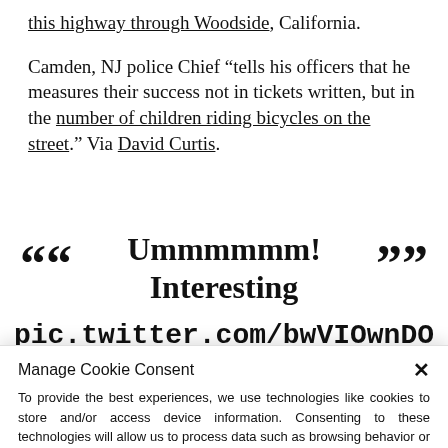this highway through Woodside, California.
Camden, NJ police Chief “tells his officers that he measures their success not in tickets written, but in the number of children riding bicycles on the street.” Via David Curtis.
““ Ummmmmm! Interesting
pic.twitter.com/bwVIOwnDO
Manage Cookie Consent
To provide the best experiences, we use technologies like cookies to store and/or access device information. Consenting to these technologies will allow us to process data such as browsing behavior or unique IDs on this site. Not consenting or withdrawing consent, may adversely affect certain features and functions.
Accept